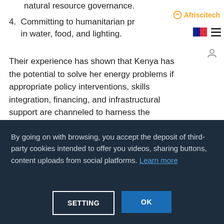natural resource governance.
4. Committing to humanitarian pr in water, food, and lighting.
Their experience has shown that Kenya has the potential to solve her energy problems if appropriate policy interventions, skills integration, financing, and infrastructural support are channeled to harness the abundant solar energy radiation in the
By going on with browsing, you accept the deposit of third-party cookies intended to offer you videos, sharing buttons, content uploads from social platforms. Learn more